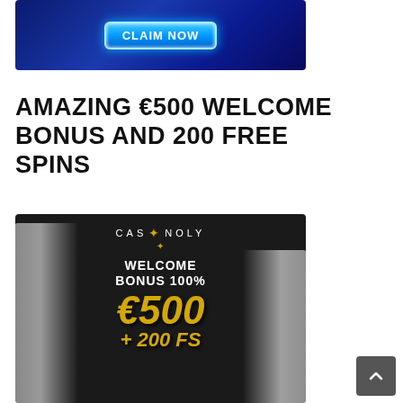[Figure (illustration): Casino promotional banner with blue background showing a running figure and a 'CLAIM NOW' button in glowing blue hexagonal style]
AMAZING €500 WELCOME BONUS AND 200 FREE SPINS
[Figure (illustration): Casinoly casino banner with Greek statues on either side, dark background, showing 'CASINOLY', 'WELCOME BONUS 100%', '€500', '+200 FS' in gold text]